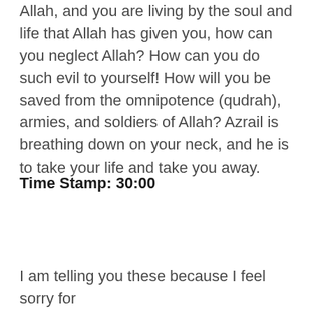Allah, and you are living by the soul and life that Allah has given you, how can you neglect Allah? How can you do such evil to yourself! How will you be saved from the omnipotence (qudrah), armies, and soldiers of Allah? Azrail is breathing down on your neck, and he is to take your life and take you away.
Time Stamp: 30:00
I am telling you these because I feel sorry for